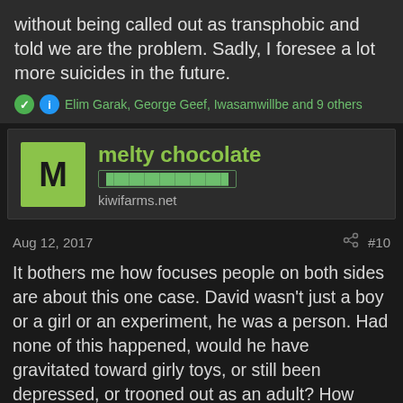without being called out as transphobic and told we are the problem. Sadly, I foresee a lot more suicides in the future.
Elim Garak, George Geef, Iwasamwillbe and 9 others
melty chocolate
[redacted badge text]
kiwifarms.net
Aug 12, 2017
#10
It bothers me how focuses people on both sides are about this one case. David wasn't just a boy or a girl or an experiment, he was a person. Had none of this happened, would he have gravitated toward girly toys, or still been depressed, or trooned out as an adult? How much of it was Money being a psychopath outside of all the gender stuff? We can never know. What about other cases? Far more interesting are Guevedoces. IIRC most are happy being male but some do transition back or want to be female.